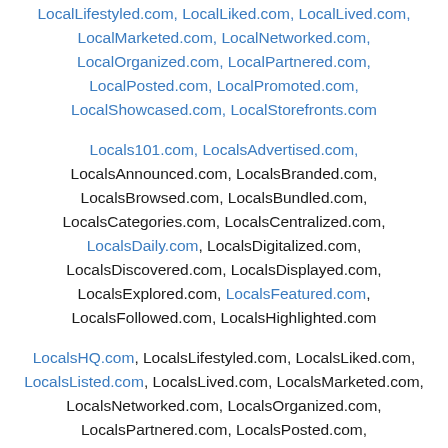LocalLifestyled.com, LocalLiked.com, LocalLived.com, LocalMarketed.com, LocalNetworked.com, LocalOrganized.com, LocalPartnered.com, LocalPosted.com, LocalPromoted.com, LocalShowcased.com, LocalStorefronts.com
Locals101.com, LocalsAdvertised.com, LocalsAnnounced.com, LocalsBranded.com, LocalsBrowsed.com, LocalsBundled.com, LocalsCategories.com, LocalsCentralized.com, LocalsDaily.com, LocalsDigitalized.com, LocalsDiscovered.com, LocalsDisplayed.com, LocalsExplored.com, LocalsFeatured.com, LocalsFollowed.com, LocalsHighlighted.com
LocalsHQ.com, LocalsLifestyled.com, LocalsLiked.com, LocalsListed.com, LocalsLived.com, LocalsMarketed.com, LocalsNetworked.com, LocalsOrganized.com, LocalsPartnered.com, LocalsPosted.com, LocalsPromoted.com, LocalsShowcased.com,